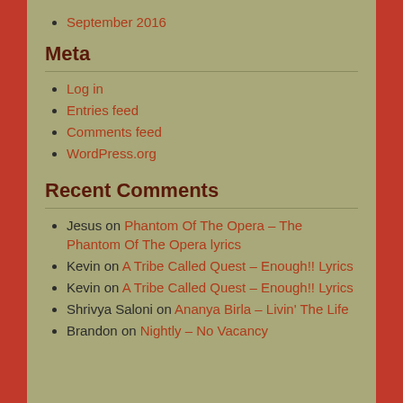September 2016
Meta
Log in
Entries feed
Comments feed
WordPress.org
Recent Comments
Jesus on Phantom Of The Opera – The Phantom Of The Opera lyrics
Kevin on A Tribe Called Quest – Enough!! Lyrics
Kevin on A Tribe Called Quest – Enough!! Lyrics
Shrivya Saloni on Ananya Birla – Livin' The Life
Brandon on Nightly – No Vacancy